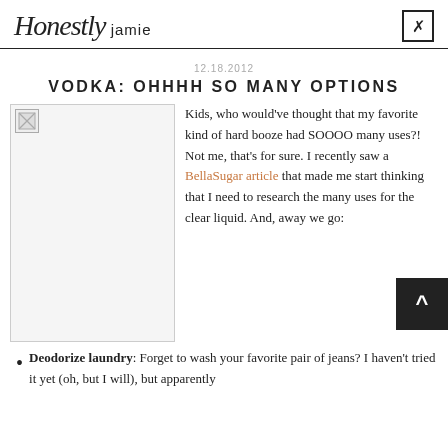Honestly jamie
12.18.2012
VODKA: OHHHH SO MANY OPTIONS
[Figure (photo): Broken image placeholder on left side of article]
Kids, who would've thought that my favorite kind of hard booze had SOOOO many uses?! Not me, that's for sure. I recently saw a BellaSugar article that made me start thinking that I need to research the many uses for the clear liquid. And, away we go:
Deodorize laundry: Forget to wash your favorite pair of jeans? I haven't tried it yet (oh, but I will), but apparently